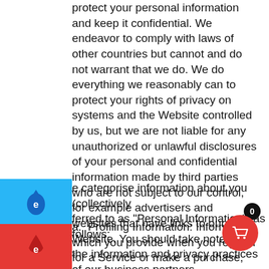protect your personal information and keep it confidential. We endeavor to comply with laws of other countries but cannot and do not warrant that we do. We do everything we reasonably can to protect your rights of privacy on systems and the Website controlled by us, but we are not liable for any unauthorized or unlawful disclosures of your personal and confidential information made by third parties who are not subject to our control, for example advertisers and websites that have links to our Website. You should take note that the information and privacy practices of our business partners, advertisers, sponsors or other sites to which we provide hyperlinks, may be different from ours. Our privacy policy is subject to change at any time without notice. To make sure you are aware of any changes, please review this policy periodically.
e categorise information about you (collectively ferred to as "Personal Information") as follows:
a. Profiling Information: Information which you provide when you register for a Service or make a purchase, which may include some or all of the following: - Information about your personal